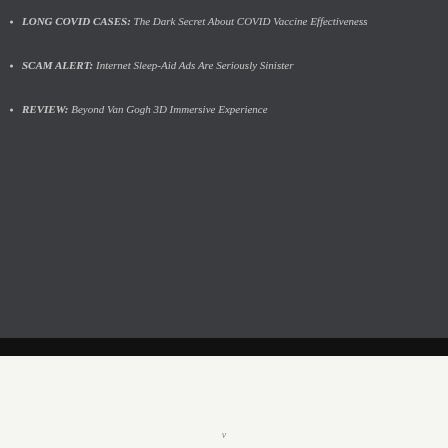LONG COVID CASES: The Dark Secret About COVID Vaccine Effectiveness
SCAM ALERT: Internet Sleep-Aid Ads Are Seriously Sinister
REVIEW: Beyond Van Gogh 3D Immersive Experience
v